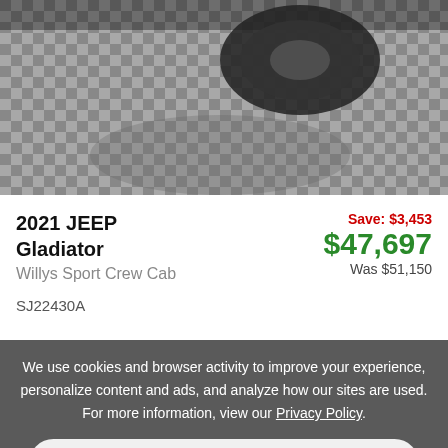[Figure (photo): Overhead/side view of a Jeep Gladiator truck wheel on a checkered tile garage floor]
2021 JEEP Gladiator Willys Sport Crew Cab
Save: $3,453 $47,697 Was $51,150
SJ22430A
We use cookies and browser activity to improve your experience, personalize content and ads, and analyze how our sites are used. For more information, view our Privacy Policy.
Accept